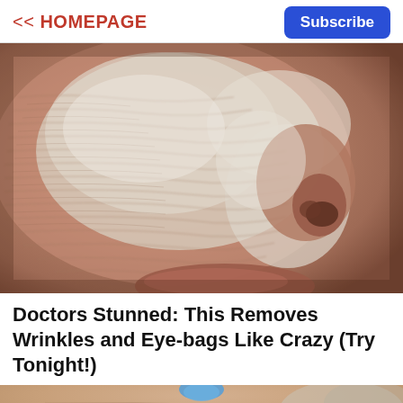<< HOMEPAGE   Subscribe
[Figure (photo): Close-up of an elderly person's face with deep wrinkles and skin texture, with a white/grey substance applied on parts of the face, shown in extreme close-up focus.]
Doctors Stunned: This Removes Wrinkles and Eye-bags Like Crazy (Try Tonight!)
[Figure (photo): Partial view of another person's face visible at the bottom of the page, cropped.]